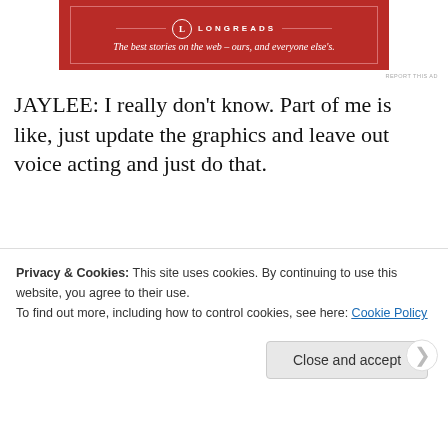[Figure (other): Longreads advertisement banner — red background with white border, logo circle with L, brand name LONGREADS in caps, tagline: The best stories on the web – ours, and everyone else's.]
REPORT THIS AD
JAYLEE: I really don't know. Part of me is like, just update the graphics and leave out voice acting and just do that.
STACEY: Update the script a bit.
JAYLEE: Yeah
S
Privacy & Cookies: This site uses cookies. By continuing to use this website, you agree to their use.
To find out more, including how to control cookies, see here: Cookie Policy
Close and accept